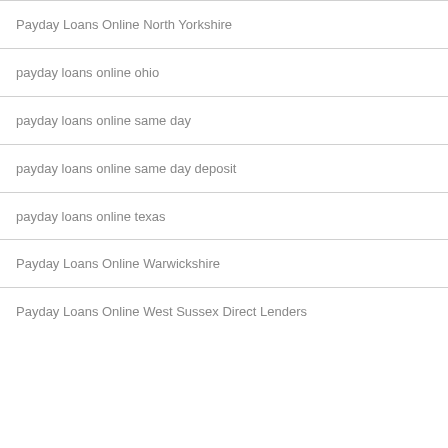Payday Loans Online North Yorkshire
payday loans online ohio
payday loans online same day
payday loans online same day deposit
payday loans online texas
Payday Loans Online Warwickshire
Payday Loans Online West Sussex Direct Lenders